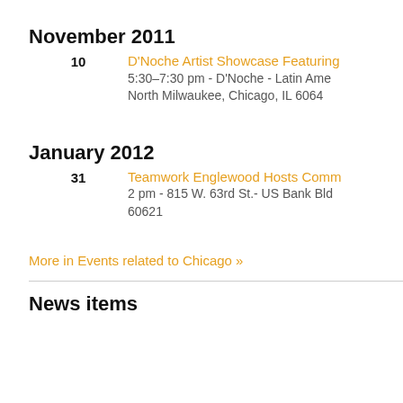November 2011
10 | D'Noche Artist Showcase Featuring
5:30–7:30 pm - D'Noche - Latin Ame
North Milwaukee, Chicago, IL 6064
January 2012
31 | Teamwork Englewood Hosts Comm
2 pm - 815 W. 63rd St.- US Bank Bld
60621
More in Events related to Chicago »
News items